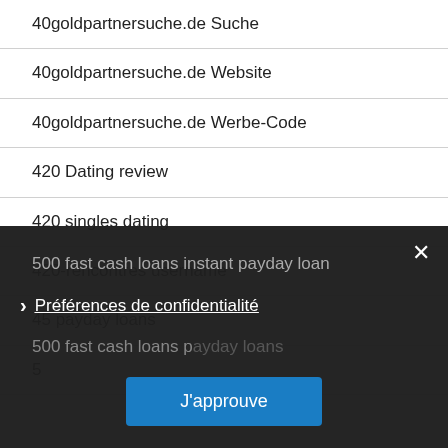40goldpartnersuche.de Suche
40goldpartnersuche.de Website
40goldpartnersuche.de Werbe-Code
420 Dating review
420 singles dating
420-rencontres username
45 payday loans
5
500 fast cash loans instant payday loan
500 fast cash loans payday loans
500 fast cash loans payday loans
Préférences de confidentialité
J'approuve